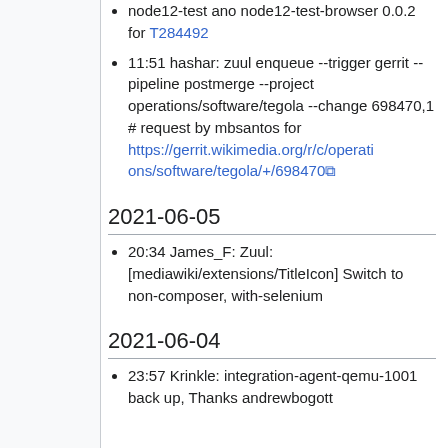node12-test ano node12-test-browser 0.0.2 for T284492
11:51 hashar: zuul enqueue --trigger gerrit --pipeline postmerge --project operations/software/tegola --change 698470,1 # request by mbsantos for https://gerrit.wikimedia.org/r/c/operations/software/tegola/+/698470
2021-06-05
20:34 James_F: Zuul: [mediawiki/extensions/TitleIcon] Switch to non-composer, with-selenium
2021-06-04
23:57 Krinkle: integration-agent-qemu-1001 back up, Thanks andrewbogott